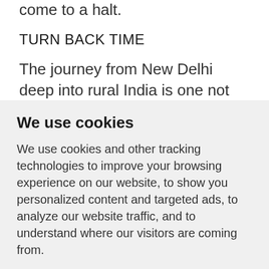come to a halt.
TURN BACK TIME
The journey from New Delhi deep into rural India is one not just of distance, but of traveling back in time. Skyscrapers and well-paved toll roads give way to fields of wheat and okra. Bare-backed men till the
We use cookies
We use cookies and other tracking technologies to improve your browsing experience on our website, to show you personalized content and targeted ads, to analyze our website traffic, and to understand where our visitors are coming from.